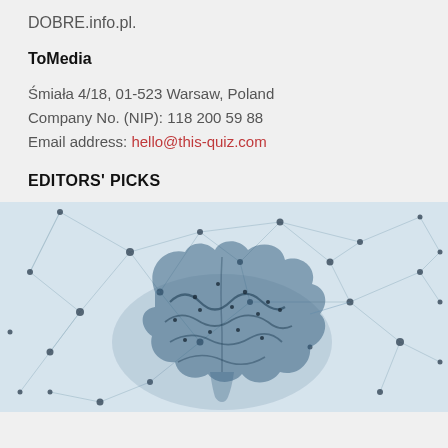DOBRE.info.pl.
ToMedia
Śmiała 4/18, 01-523 Warsaw, Poland
Company No. (NIP): 118 200 59 88
Email address: hello@this-quiz.com
EDITORS' PICKS
[Figure (illustration): A neural network brain illustration showing a blue transparent brain with dark dots and connecting lines on a light blue background.]